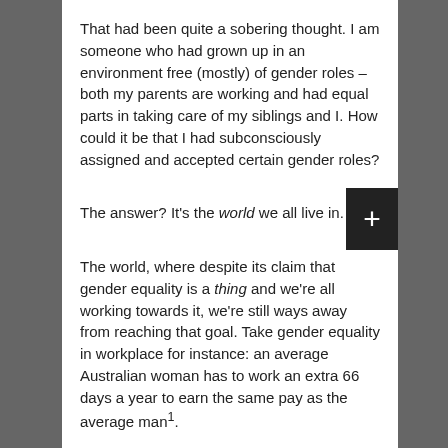That had been quite a sobering thought. I am someone who had grown up in an environment free (mostly) of gender roles – both my parents are working and had equal parts in taking care of my siblings and I. How could it be that I had subconsciously assigned and accepted certain gender roles?
The answer? It's the world we all live in.
The world, where despite its claim that gender equality is a thing and we're all working towards it, we're still ways away from reaching that goal. Take gender equality in workplace for instance: an average Australian woman has to work an extra 66 days a year to earn the same pay as the average man¹.